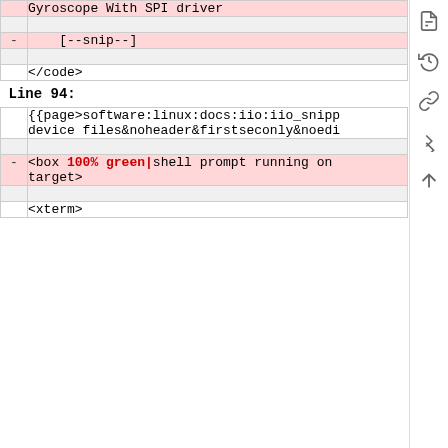| marker | content |
| --- | --- |
|   | Gyroscope With SPI driver |
|   |  |
| - |     [--snip--] |
|   |  |
|   | </code> |
| Line 94: |  |
|   | {{page>software:linux:docs:iio:iio_snipp
device files&noheader&firstseconly&noedi |
|   |  |
| - | <box 100% green|shell prompt running on
target> |
|   | <xterm> |